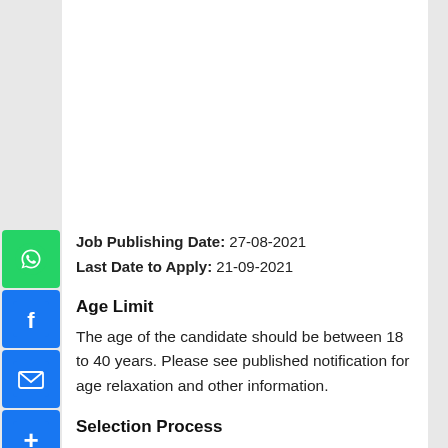Job Publishing Date: 27-08-2021
Last Date to Apply: 21-09-2021
Age Limit
The age of the candidate should be between 18 to 40 years. Please see published notification for age relaxation and other information.
Selection Process
According to the performance in the